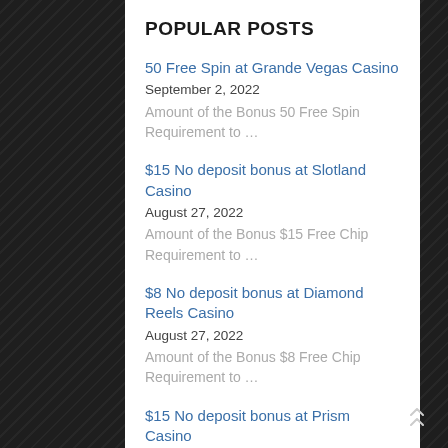POPULAR POSTS
50 Free Spin at Grande Vegas Casino
September 2, 2022
Amount of the Bonus 50 Free Spin Requirement to …
$15 No deposit bonus at Slotland Casino
August 27, 2022
Amount of the Bonus $15 Free Chip Requirement to …
$8 No deposit bonus at Diamond Reels Casino
August 27, 2022
Amount of the Bonus $8 Free Chip Requirement to …
$15 No deposit bonus at Prism Casino